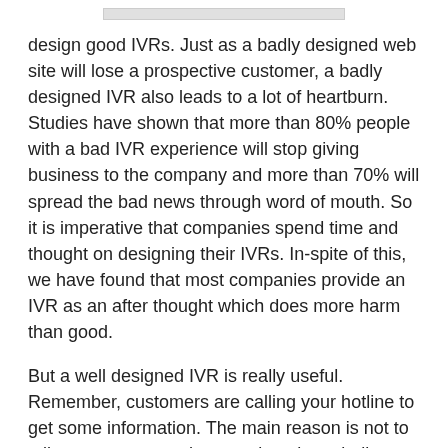design good IVRs. Just as a badly designed web site will lose a prospective customer, a badly designed IVR also leads to a lot of heartburn. Studies have shown that more than 80% people with a bad IVR experience will stop giving business to the company and more than 70% will spread the bad news through word of mouth. So it is imperative that companies spend time and thought on designing their IVRs. In-spite of this, we have found that most companies provide an IVR as an after thought which does more harm than good.
But a well designed IVR is really useful. Remember, customers are calling your hotline to get some information. The main reason is not to talk to someone as the question above indicates. They want to talk to someone because customers believe that people can solve their problems better. But if they call and find their answer in an IVR, they will be just as happy. If the IVR is intelligent enough to recognize you, do a database dip and and answer your query automatically(like playing the status of your order etc), then you would not need to talk to a person also and you